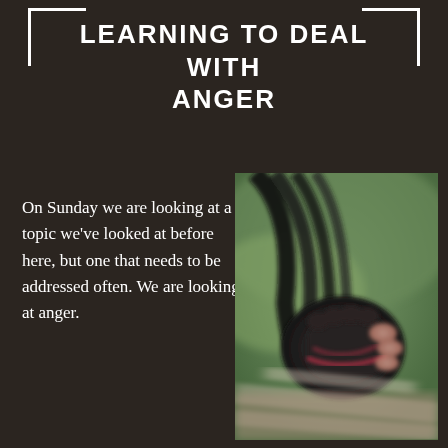LEARNING TO DEAL WITH ANGER
On Sunday we are looking at a topic we've looked at before here, but one that needs to be addressed often. We are looking at anger.
[Figure (photo): Close-up of a person's clenched fist with fingerless boxing gloves, shown with motion blur on a blurred outdoor background.]